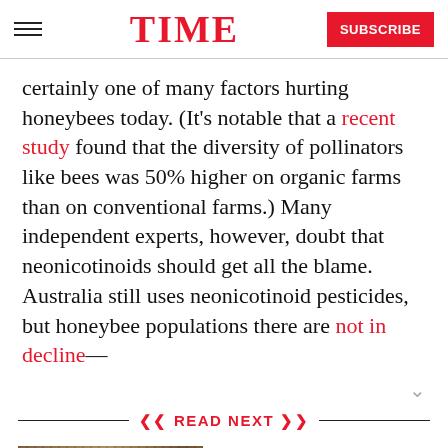TIME | SUBSCRIBE
certainly one of many factors hurting honeybees today. (It's notable that a recent study found that the diversity of pollinators like bees was 50% higher on organic farms than on conventional farms.) Many independent experts, however, doubt that neonicotinoids should get all the blame. Australia still uses neonicotinoid pesticides, but honeybee populations there are not in decline—
READ NEXT
[Figure (photo): Close-up photograph of honeybees on a honeycomb surface]
Pesticides May Cause Colony Collapse Disorder in Honeybees